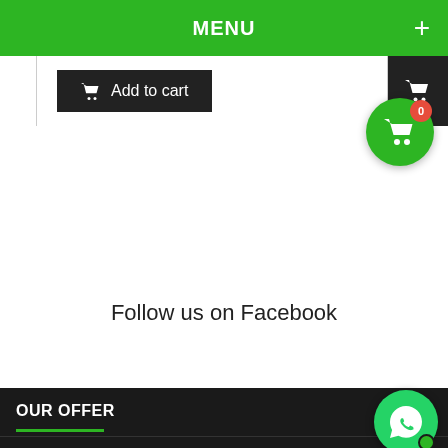MENU
[Figure (screenshot): Add to cart button row with shopping cart icon on dark background, and a floating green cart button with red badge showing 0]
Follow us on Facebook
OUR OFFER
INFORMATION
MY ACCOUNT
[Figure (other): WhatsApp floating button with green online indicator dot]